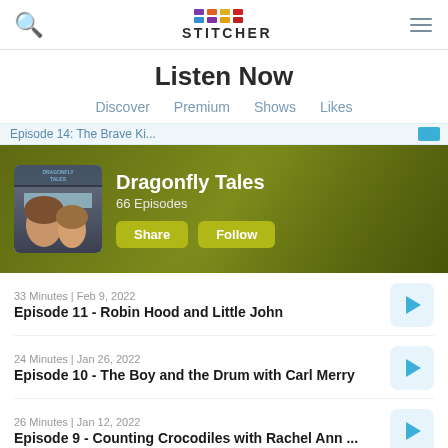Stitcher — Listen Now
Listen Now
Discover | Premium | Shows | Likes
[Figure (screenshot): Dragonfly Tales podcast banner with album art showing two people, title 'Dragonfly Tales', '66 Episodes', Share and Follow buttons, on an olive-green background]
33 Minutes | Feb 9, 2022
Episode 11 - Robin Hood and Little John
24 Minutes | Jan 26, 2022
Episode 10 - The Boy and the Drum with Carl Merry
26 Minutes | Jan 12, 2022
Episode 9 - Counting Crocodiles with Rachel Ann ...